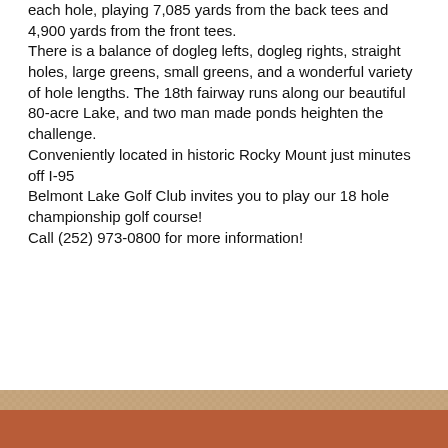each hole, playing 7,085 yards from the back tees and 4,900 yards from the front tees. There is a balance of dogleg lefts, dogleg rights, straight holes, large greens, small greens, and a wonderful variety of hole lengths. The 18th fairway runs along our beautiful 80-acre Lake, and two man made ponds heighten the challenge. Conveniently located in historic Rocky Mount just minutes off I-95 Belmont Lake Golf Club invites you to play our 18 hole championship golf course! Call (252) 973-0800 for more information!